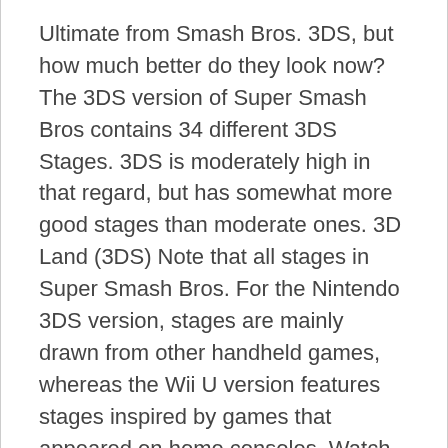Ultimate from Smash Bros. 3DS, but how much better do they look now? The 3DS version of Super Smash Bros contains 34 different 3DS Stages. 3DS is moderately high in that regard, but has somewhat more good stages than moderate ones. 3D Land (3DS) Note that all stages in Super Smash Bros. For the Nintendo 3DS version, stages are mainly drawn from other handheld games, whereas the Wii U version features stages inspired by games that appeared on home consoles. Watch out for Shy Guys racing in their karts! Super Smash Bros. released in America and elsewhere for the Nintendo 3DS at midnight, and the unlockable characters and stages may need a â ¦ Target Smash!! A standard stage consisting of a large plaform and three smaller ones that float above it. The platforms go back and forth between the town and… errmm…the city. The tower